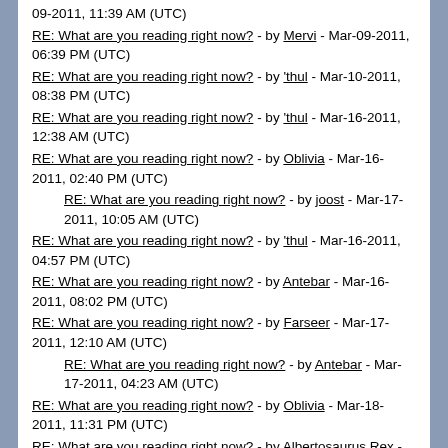09-2011, 11:39 AM (UTC)
RE: What are you reading right now? - by Mervi - Mar-09-2011, 06:39 PM (UTC)
RE: What are you reading right now? - by 'thul - Mar-10-2011, 08:38 PM (UTC)
RE: What are you reading right now? - by 'thul - Mar-16-2011, 12:38 AM (UTC)
RE: What are you reading right now? - by Oblivia - Mar-16-2011, 02:40 PM (UTC)
RE: What are you reading right now? - by joost - Mar-17-2011, 10:05 AM (UTC)
RE: What are you reading right now? - by 'thul - Mar-16-2011, 04:57 PM (UTC)
RE: What are you reading right now? - by Antebar - Mar-16-2011, 08:02 PM (UTC)
RE: What are you reading right now? - by Farseer - Mar-17-2011, 12:10 AM (UTC)
RE: What are you reading right now? - by Antebar - Mar-17-2011, 04:23 AM (UTC)
RE: What are you reading right now? - by Oblivia - Mar-18-2011, 11:31 PM (UTC)
RE: What are you reading right now? - by Albertosaurus Rex - Mar-21-2011, 05:10 PM (UTC)